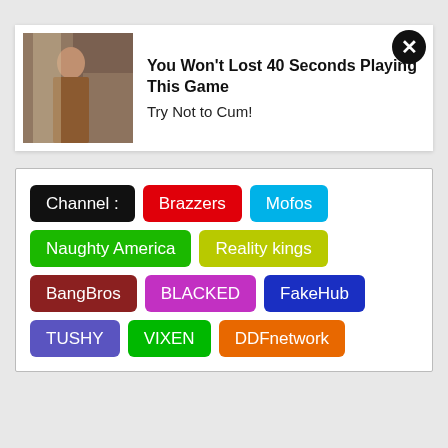[Figure (screenshot): Advertisement banner showing a thumbnail image of a person outdoors, with bold title text 'You Won't Lost 40 Seconds Playing This Game' and subtitle 'Try Not to Cum!', with a close (X) button in the top right corner.]
You Won't Lost 40 Seconds Playing This Game
Try Not to Cum!
Channel :  Brazzers  Mofos
Naughty America  Reality kings
BangBros  BLACKED  FakeHub
TUSHY  VIXEN  DDFnetwork